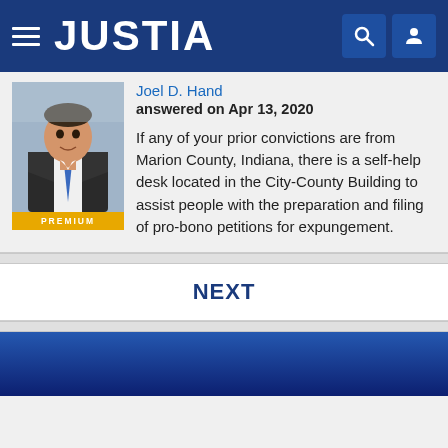JUSTIA
Joel D. Hand
answered on Apr 13, 2020
If any of your prior convictions are from Marion County, Indiana, there is a self-help desk located in the City-County Building to assist people with the preparation and filing of pro-bono petitions for expungement.
NEXT